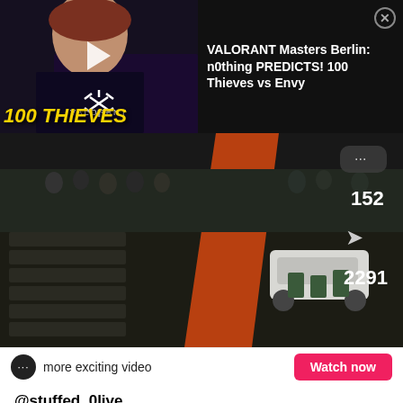[Figure (screenshot): Ad banner for VALORANT Masters Berlin video: thumbnail with person wearing '100 THIEVES' overlay in yellow italic text, Valorant logo at bottom, play button. Right side shows title text and close button.]
VALORANT Masters Berlin: n0thing PREDICTS! 100 Thieves vs Envy
[Figure (screenshot): TikTok video screenshot from aerial/overhead view of nighttime street scene with crowd, police, orange-striped road, white car. Shows comment count 152 and share count 2291.]
more exciting video
Watch now
@stuffed_0live
crazy scene in long branch nj tonight #longbranch #newjersey #cops ...See more
[Figure (screenshot): Bottom banner ad: Originals logo on left, 'Untold Influencer Stories' text in center, 'LEARN MORE' button on right, X close button.]